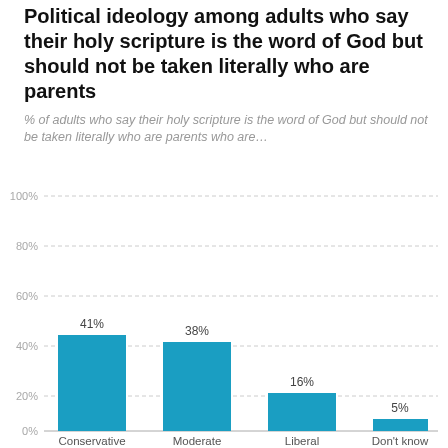Political ideology among adults who say their holy scripture is the word of God but should not be taken literally who are parents
% of adults who say their holy scripture is the word of God but should not be taken literally who are parents who are…
[Figure (bar-chart): ]